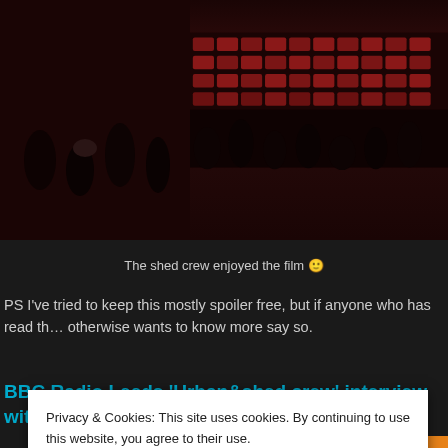[Figure (photo): Cinema audience in a darkened theatre with red seats visible on the right side]
The shed crew enjoyed the film 🙂
PS I've tried to keep this mostly spoiler free, but if anyone who has read th... otherwise wants to know more say so.
BBC Radio Leeds 'Urban&shed crew' interview with Candida Brady & Bernard Hare
Privacy & Cookies: This site uses cookies. By continuing to use this website, you agree to their use. To find out more, including how to control cookies, see here: Cookie Policy
Close and accept